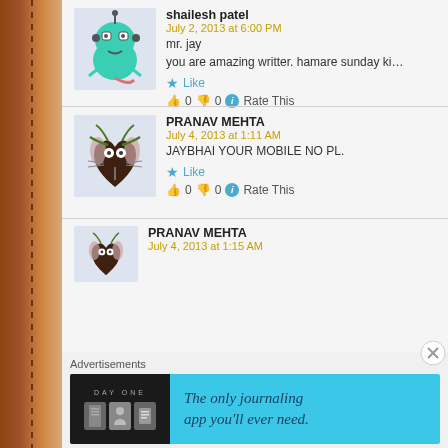[Figure (screenshot): Blog comment section showing user comments on a webpage with a brown leather left sidebar]
shailesh patel
July 2, 2013 at 6:00 PM
mr. jay
you are amazing writter. hamare sunday ki suruat apke an
Like
0  0  Rate This
PRANAV MEHTA
July 4, 2013 at 1:11 AM
JAYBHAI YOUR MOBILE NO PL.
Like
0  0  Rate This
PRANAV MEHTA
July 4, 2013 at 1:15 AM
Advertisements
DAY ONE - The only journaling app you'll ever need.